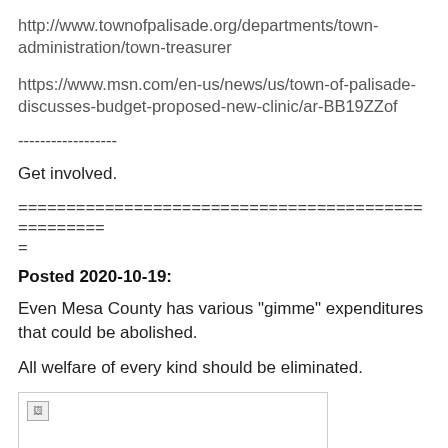http://www.townofpalisade.org/departments/town-administration/town-treasurer
https://www.msn.com/en-us/news/us/town-of-palisade-discusses-budget-proposed-new-clinic/ar-BB19ZZof
------------------
Get involved.
===================================================
=
Posted 2020-10-19:
Even Mesa County has various "gimme" expenditures that could be abolished.
All welfare of every kind should be eliminated.
[Figure (photo): Broken image placeholder]